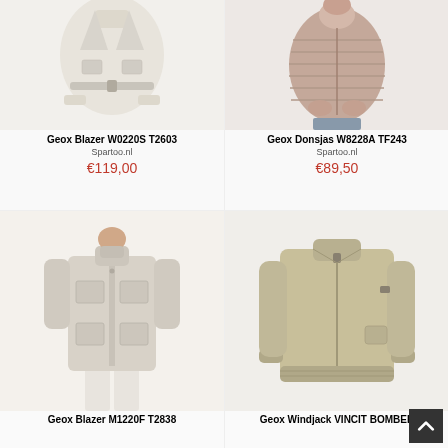[Figure (photo): Geox Blazer W0220S T2603 - light beige women's jacket with belt, from Spartoo.nl]
Geox Blazer W0220S T2603
Spartoo.nl
€119,00
[Figure (photo): Geox Donsjas W8228A TF243 - quilted taupe down jacket worn by female model, from Spartoo.nl]
Geox Donsjas W8228A TF243
Spartoo.nl
€89,50
[Figure (photo): Geox Blazer M1220F T2838 - light beige men's field jacket with four pockets, worn by male model]
Geox Blazer M1220F T2838
[Figure (photo): Geox Windjack VINCIT BOMBER - khaki/beige bomber jacket, men's, partial view]